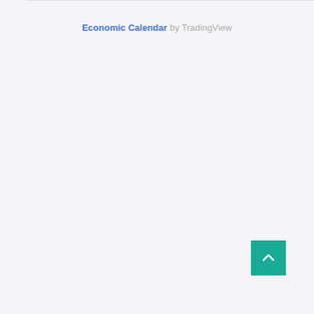Economic Calendar by TradingView
[Figure (other): Teal/green scroll-to-top button with upward chevron arrow in bottom right corner]